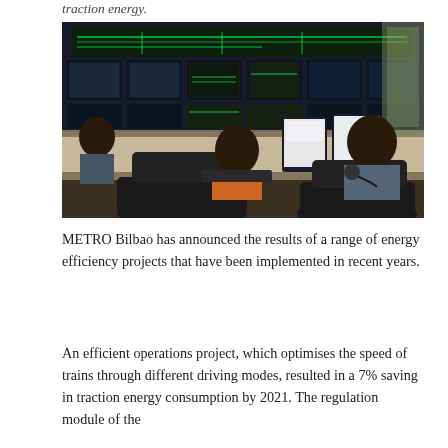traction energy.
[Figure (photo): Control room with operators seated at workstations with multiple monitors, behind them a large wall of screens showing railway network maps and camera feeds.]
METRO Bilbao has announced the results of a range of energy efficiency projects that have been implemented in recent years.
An efficient operations project, which optimises the speed of trains through different driving modes, resulted in a 7% saving in traction energy consumption by 2021. The regulation module of the